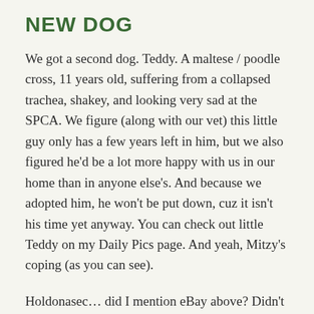NEW DOG
We got a second dog. Teddy. A maltese / poodle cross, 11 years old, suffering from a collapsed trachea, shakey, and looking very sad at the SPCA. We figure (along with our vet) this little guy only has a few years left in him, but we also figured he'd be a lot more happy with us in our home than in anyone else's. And because we adopted him, he won't be put down, cuz it isn't his time yet anyway. You can check out little Teddy on my Daily Pics page. And yeah, Mitzy's coping (as you can see).
Holdonasec… did I mention eBay above? Didn't I